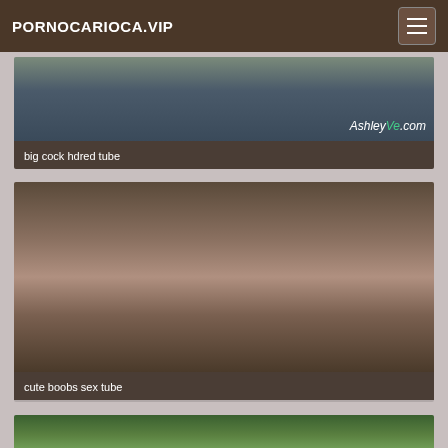PORNOCARIOCA.VIP
[Figure (photo): Thumbnail image with AshleyVe.com watermark]
big cock hdred tube
[Figure (photo): Thumbnail image of sexual content]
cute boobs sex tube
[Figure (photo): Partial thumbnail image at bottom of page]